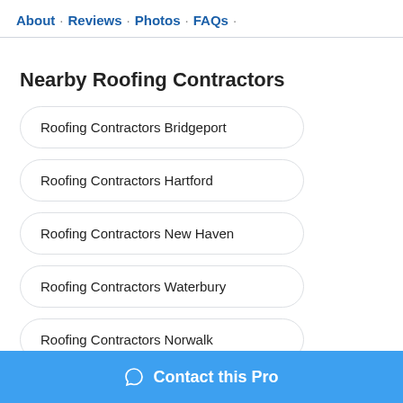About · Reviews · Photos · FAQs ·
Nearby Roofing Contractors
Roofing Contractors Bridgeport
Roofing Contractors Hartford
Roofing Contractors New Haven
Roofing Contractors Waterbury
Roofing Contractors Norwalk
Contact this Pro